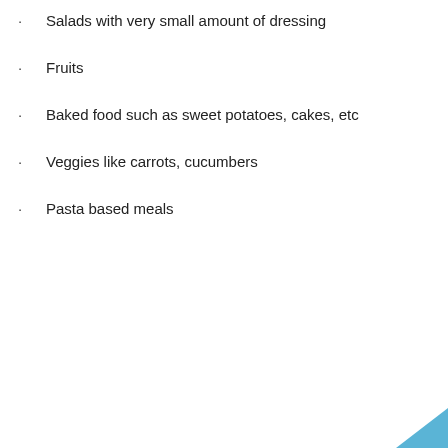Salads with very small amount of dressing
Fruits
Baked food such as sweet potatoes, cakes, etc
Veggies like carrots, cucumbers
Pasta based meals